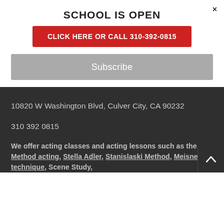SCHOOL IS OPEN
CLICK HERE OR CALL 310-392-0815
Subscribe
10820 W Washington Blvd, Culver City, CA 90232
310 392 0815
We offer acting classes and acting lessons such as the Method acting, Stella Adler, Stanislaski Method, Meisner technique, Scene Study,